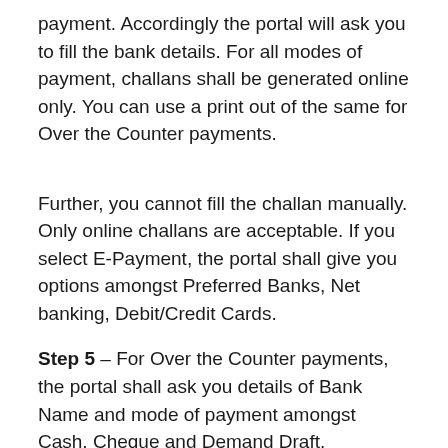payment. Accordingly the portal will ask you to fill the bank details. For all modes of payment, challans shall be generated online only. You can use a print out of the same for Over the Counter payments.
Further, you cannot fill the challan manually. Only online challans are acceptable. If you select E-Payment, the portal shall give you options amongst Preferred Banks, Net banking, Debit/Credit Cards.
Step 5 – For Over the Counter payments, the portal shall ask you details of Bank Name and mode of payment amongst Cash, Cheque and Demand Draft.
Similarly for NEFT/RTGS, the portal shall display Account